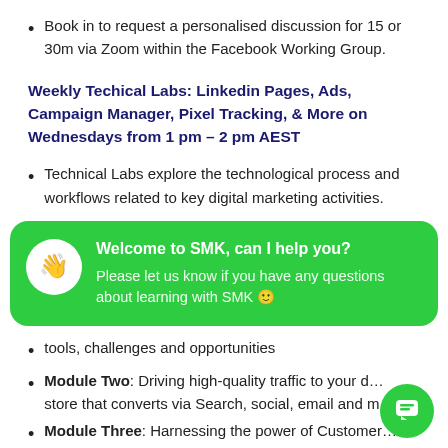Book in to request a personalised discussion for 15 or 30m via Zoom within the Facebook Working Group.
Weekly Techical Labs: Linkedin Pages, Ads, Campaign Manager, Pixel Tracking, & More on Wednesdays from 1 pm – 2 pm AEST
Technical Labs explore the technological process and workflows related to key digital marketing activities.
[Figure (infographic): Green rounded chat bubble widget with SMK branding. Title: 'Welcome to SMK, can I help you?' Subtitle: 'Please let us know if you have any questions about learning with SMK 🙂'. Includes a hand-wave icon in a white circle.]
tools, challenges and opportunities
Module Two: Driving high-quality traffic to your store that converts via Search, social, email and m…
Module Three: Harnessing the power of Customer…